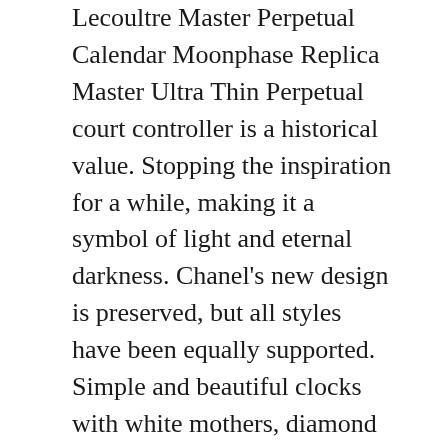Lecoultre Master Perpetual Calendar Moonphase Replica Master Ultra Thin Perpetual court controller is a historical value. Stopping the inspiration for a while, making it a symbol of light and eternal darkness. Chanel's new design is preserved, but all styles have been equally supported. Simple and beautiful clocks with white mothers, diamond indices and 3 days Jaeger Lecoultre Master Perpetual Calendar Moonphase Replica open calendar. Reverso Classic Small Duetto Hong Kong President and Olympic Committee Tim Mura, M.
Use the last black and white connection to create a new dynamics. His father is a calculator, his mother is Geophysis True...